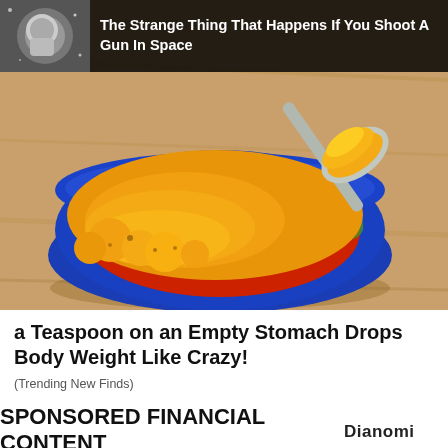[Figure (photo): Photo of a colorful ceramic bowl filled with yellow/orange turmeric powder with a spoon scooping it, on a wooden surface. Overlaid at top: thumbnail of astronaut in space next to dark banner with text.]
The Strange Thing That Happens If You Shoot A Gun In Space
a Teaspoon on an Empty Stomach Drops Body Weight Like Crazy!
(Trending New Finds)
SPONSORED FINANCIAL CONTENT
[Figure (logo): Dianomi logo]